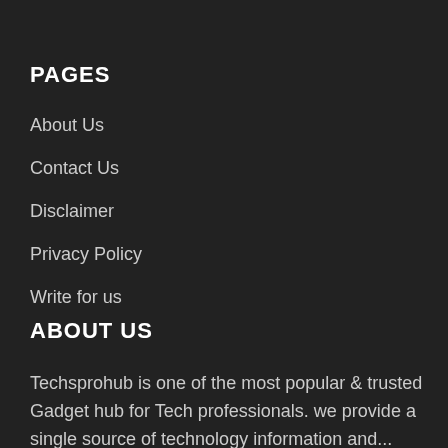PAGES
About Us
Contact Us
Disclaimer
Privacy Policy
Write for us
ABOUT US
Techsprohub is one of the most popular & trusted Gadget hub for Tech professionals. we provide a single source of technology information and...